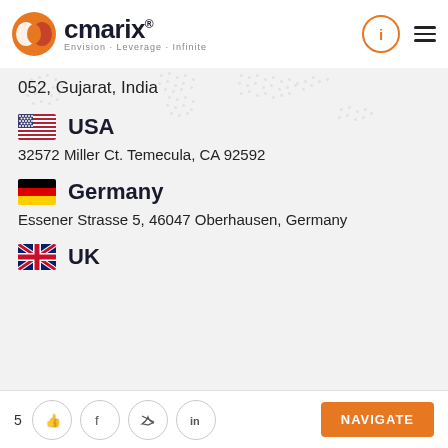cmarix® Envision · Leverage · Infinite
052, Gujarat, India
USA
32572 Miller Ct. Temecula, CA 92592
Germany
Essener Strasse 5, 46047 Oberhausen, Germany
UK
5  NAVIGATE